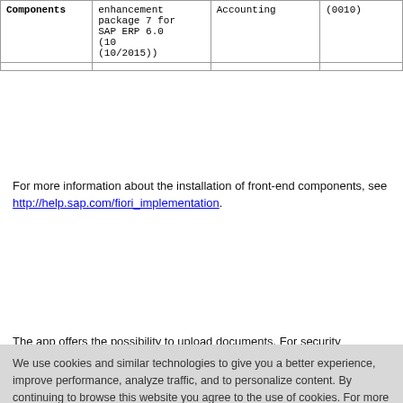| Components | Enhancement package 7 for SAP ERP 6.0 (10 (10/2015)) | Accounting | (0010) |
| --- | --- | --- | --- |
| Components | enhancement package 7 for SAP ERP 6.0 (10 (10/2015)) | Accounting | (0010) |
For more information about the installation of front-end components, see http://help.sap.com/fiori_implementation.
The app offers the possibility to upload documents. For security
We use cookies and similar technologies to give you a better experience, improve performance, analyze traffic, and to personalize content. By continuing to browse this website you agree to the use of cookies. For more information on how this website uses cookies, please select “Privacy Policy.” To opt-out of cookies, please select “More Information.”
Accept Cookies
More Information
Privacy Policy | Powered by: TrustArc
| SAP Note Number | Description |
| --- | --- |